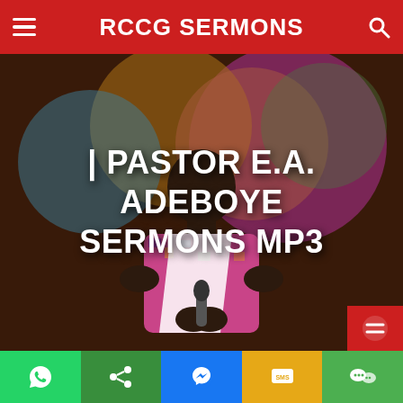RCCG SERMONS
[Figure (photo): Pastor E.A. Adeboye speaking on stage, holding a microphone, wearing a colorful patterned shirt and white sash, with colorful circular stage backdrop behind him. Large white bold text overlay reads: | PASTOR E.A. ADEBOYE SERMONS MP3]
| PASTOR E.A. ADEBOYE SERMONS MP3